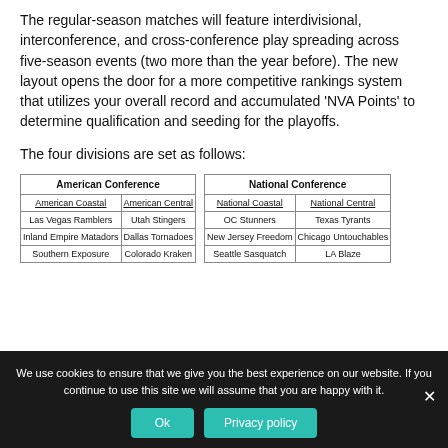The regular-season matches will feature interdivisional, interconference, and cross-conference play spreading across five-season events (two more than the year before). The new layout opens the door for a more competitive rankings system that utilizes your overall record and accumulated 'NVA Points' to determine qualification and seeding for the playoffs.
The four divisions are set as follows:
| American Conference |  |
| --- | --- |
| American Coastal | American Central |
| Las Vegas Ramblers | Utah Stingers |
| Inland Empire Matadors | Dallas Tornadoes |
| Southern Exposure | Colorado Kraken |
| National Conference |  |
| --- | --- |
| National Coastal | National Central |
| OC Stunners | Texas Tyrants |
| New Jersey Freedom | Chicago Untouchables |
| Seattle Sasquatch | LA Blaze |
We use cookies to ensure that we give you the best experience on our website. If you continue to use this site we will assume that you are happy with it.